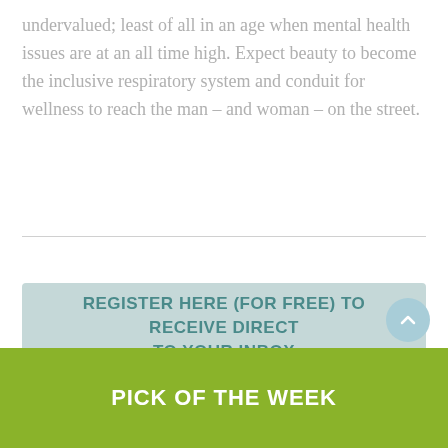undervalued; least of all in an age when mental health issues are at an all time high. Expect beauty to become the inclusive respiratory system and conduit for wellness to reach the man – and woman – on the street.
REGISTER HERE (FOR FREE) TO RECEIVE DIRECT TO YOUR INBOX
PICK OF THE WEEK